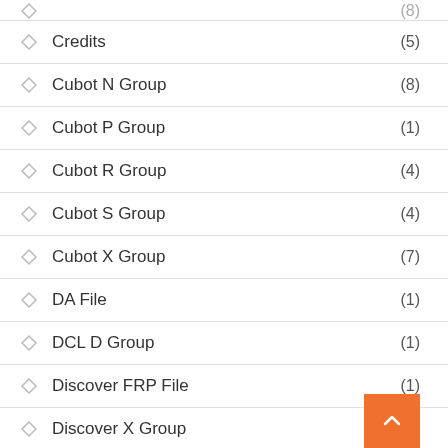Credits (5)
Cubot N Group (8)
Cubot P Group (1)
Cubot R Group (4)
Cubot S Group (4)
Cubot X Group (7)
DA File (1)
DCL D Group (1)
Discover FRP File (1)
Discover X Group
Discoveri-y D Group (3)